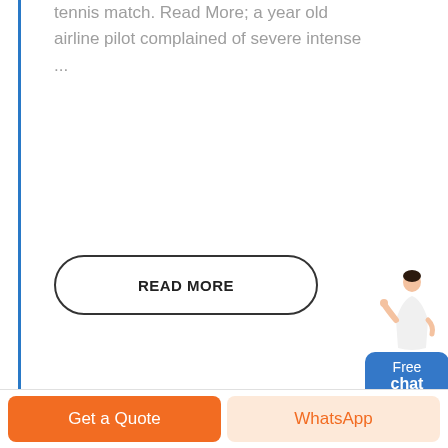tennis match. Read More; a year old airline pilot complained of severe intense ...
READ MORE
[Figure (illustration): A person (customer service representative) in white outfit gesturing, with a blue rounded rectangle chat widget showing 'Free chat']
Free chat
Get a Quote
WhatsApp